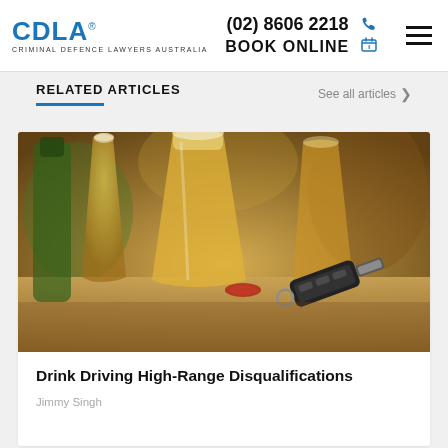CDLA Criminal Defence Lawyers Australia | (02) 8606 2218 | BOOK ONLINE
RELATED ARTICLES
See all articles >
[Figure (photo): Photo of beer glasses on a bar table with car keys in the foreground, suggesting drink driving theme]
Drink Driving High-Range Disqualifications
Jimmy Singh